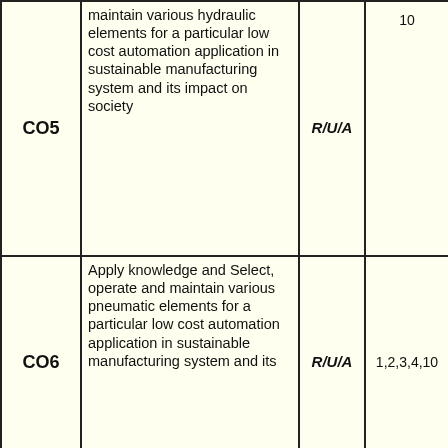| CO | Description | Level | PO No. | Marks |
| --- | --- | --- | --- | --- |
| CO5 | maintain various hydraulic elements for a particular low cost automation application in sustainable manufacturing system and its impact on society | R/U/A | 10 | 10 |
| CO6 | Apply knowledge and Select, operate and maintain various pneumatic elements for a particular low cost automation application in sustainable manufacturing system and its | R/U/A | 1,2,3,4,10 | 10 |